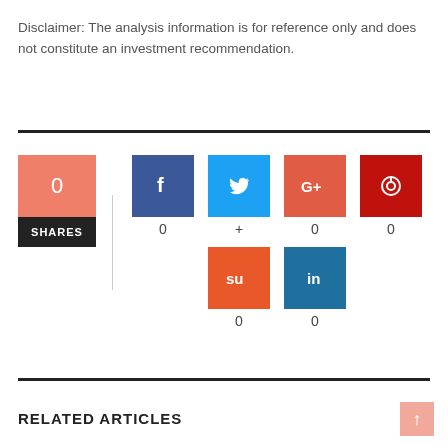Disclaimer: The analysis information is for reference only and does not constitute an investment recommendation.
[Figure (infographic): Social sharing widget showing 0 total shares with icons for Facebook (0), Twitter (+), Google+ (0), Pinterest (0), StumbleUpon (0), and LinkedIn (0).]
RELATED ARTICLES